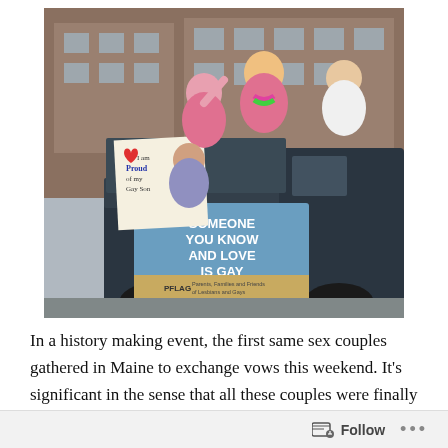[Figure (photo): Outdoor pride parade scene. Several people ride in the bed of a dark pickup truck, waving and smiling. One person holds a handwritten sign reading 'I am Proud of my Gay Son' with a heart. A blue banner on the side of the truck reads 'SOMEONE YOU KNOW AND LOVE IS GAY' with a PFLAG logo and text 'Parents, Families and Friends of Lesbians and Gays'. Background shows a brick building.]
In a history making event, the first same sex couples gathered in Maine to exchange vows this weekend. It's significant in the sense that all these couples were finally
Follow ...